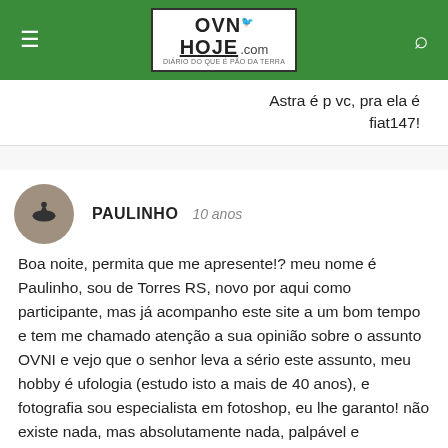OVNI HOJE .com
Astra é p vc, pra ela é fiat147!
PAULINHO   10 anos
Boa noite, permita que me apresente!? meu nome é Paulinho, sou de Torres RS, novo por aqui como participante, mas já acompanho este site a um bom tempo e tem me chamado atenção a sua opinião sobre o assunto OVNI e vejo que o senhor leva a sério este assunto, meu hobby é ufologia (estudo isto a mais de 40 anos), e fotografia sou especialista em fotoshop, eu lhe garanto! não existe nada, mas absolutamente nada, palpável e cientificamente comprovado que tenha vindo (coisa inteligente), de outro planeta, dimensão ou seja lá o que for, que sirva como prova cabal para afirmação de que seja extraterrestre, são somente relatos que desabam